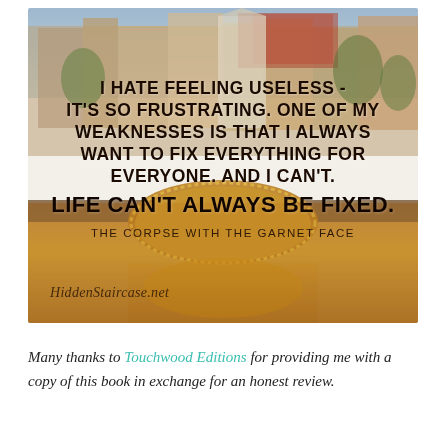[Figure (photo): Photo of Amsterdam canal with historic buildings and bridge arch lit up at night, overlaid with a motivational quote in bold black uppercase text. The image shows colorful Dutch townhouses, trees, a canal, and a glowing arched bridge reflection in the water. Text overlay reads: 'I HATE FEELING USELESS - IT'S SO FRUSTRATING. ONE OF MY WEAKNESSES IS THAT I ALWAYS WANT TO FIX EVERYTHING FOR EVERYONE. AND I CAN'T. LIFE CAN'T ALWAYS BE FIXED.' with attribution 'THE CORPSE WITH THE GARNET FACE' and watermark 'HiddenStaircase.net']
Many thanks to Touchwood Editions for providing me with a copy of this book in exchange for an honest review.